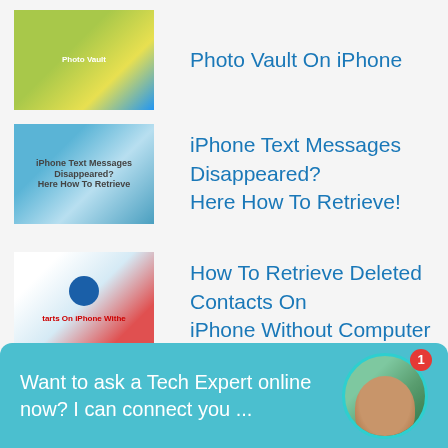Photo Vault On iPhone
iPhone Text Messages Disappeared? Here How To Retrieve!
How To Retrieve Deleted Contacts On iPhone Without Computer
3 Solutions To Recover Trimmed Voice Memos From iPhone
More Related iPhone Data Recovery Posts »
Want to ask a Tech Expert online now? I can connect you ...